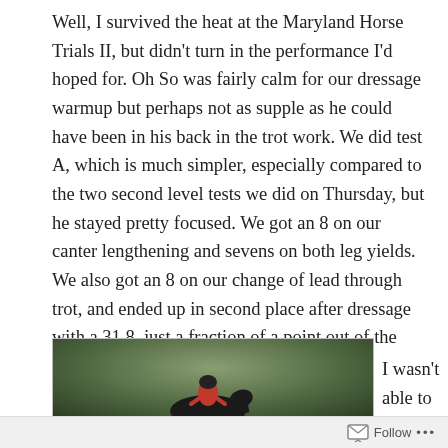Well, I survived the heat at the Maryland Horse Trials II, but didn't turn in the performance I'd hoped for. Oh So was fairly calm for our dressage warmup but perhaps not as supple as he could have been in his back in the trot work. We did test A, which is much simpler, especially compared to the two second level tests we did on Thursday, but he stayed pretty focused. We got an 8 on our canter lengthening and sevens on both leg yields. We also got an 8 on our change of lead through trot, and ended up in second place after dressage with a 31.8, just a fraction of a point out of the lead.
[Figure (photo): A rider on a dark horse outdoors, with green foliage in the background. The rider appears to be wearing a helmet and vest.]
I wasn't able to
Follow